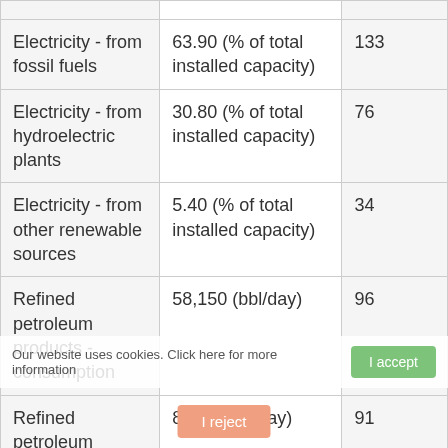| Category | Value | Rank |
| --- | --- | --- |
| Electricity - from fossil fuels | 63.90 (% of total installed capacity) | 133 |
| Electricity - from hydroelectric plants | 30.80 (% of total installed capacity) | 76 |
| Electricity - from other renewable sources | 5.40 (% of total installed capacity) | 34 |
| Refined petroleum products - consumption | 58,150 (bbl/day) | 96 |
| Refined petroleum | 8,419 (bbl/day) | 91 |